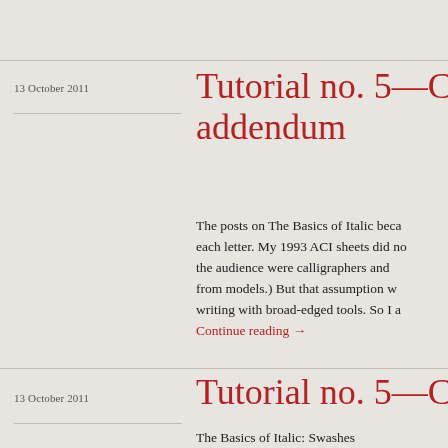13 October 2011
Tutorial no. 5—Ca… addendum
The posts on The Basics of Italic beca… each letter. My 1993 ACI sheets did no… the audience were calligraphers and … from models.) But that assumption w… writing with broad-edged tools. So I a…
Continue reading →
13 October 2011
Tutorial no. 5—Ca…
The Basics of Italic: Swashes
Swashes. Italic teaching sheet by Ra…